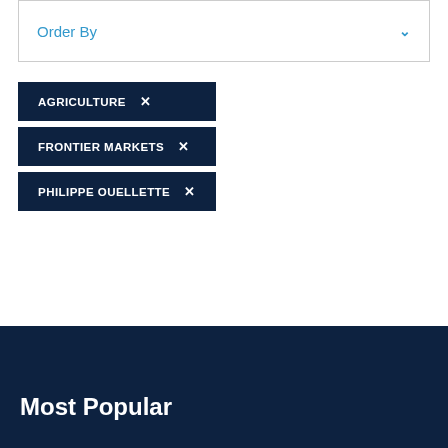Order By
AGRICULTURE ×
FRONTIER MARKETS ×
PHILIPPE OUELLETTE ×
Most Popular